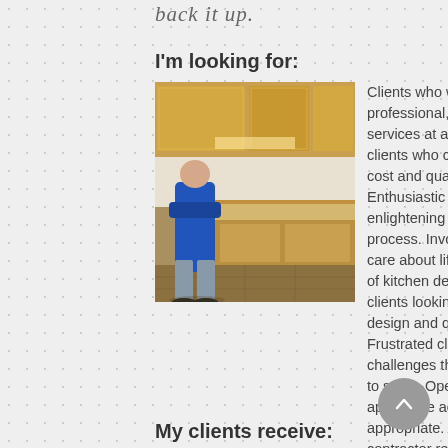back it up.
I'm looking for:
[Figure (photo): A man standing in a kitchen, leaning against a counter, wearing a blue top and grey pants.]
Clients who want personal, professional, architectural-quality services at a value. Discriminating clients who can honestly evaluate cost and quality priorities. Enthusiastic clients who enjoy the enlightening and unfolding creative process. Involved clients who really care about lifestyle considerations of kitchen design. Reasonable clients looking for inspirational design and quality on a budget. Frustrated clients who have design challenges that others can't seem to solve. Open-minded clients who appreciate advocacy when appropriate. Architect and contractor referrals to help with their more demanding clients.
My clients receive: